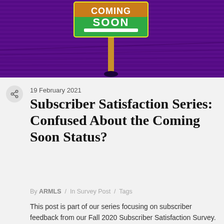[Figure (photo): Purple-tinted aerial/landscape photo with a colorful 'COMING SOON' sign on a pole in the center foreground. The sign has a green and orange gradient background with white bold text reading 'COMING SOON'.]
19 February 2021
Subscriber Satisfaction Series: Confused About the Coming Soon Status?
By ARMLS / In Survey Post / Tags
This post is part of our series focusing on subscriber feedback from our Fall 2020 Subscriber Satisfaction Survey. We welcome comments and questions any